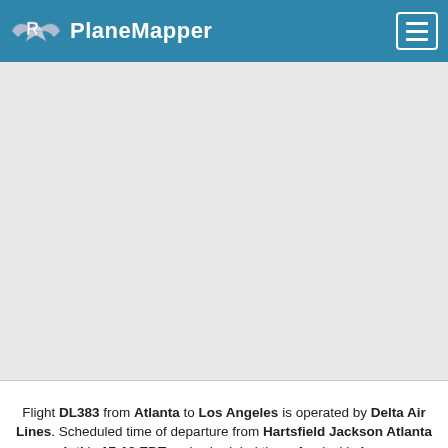PlaneMapper
[Figure (map): Map view area showing a flight route, currently blank/loading (light gray background)]
Flight DL383 from Atlanta to Los Angeles is operated by Delta Air Lines. Scheduled time of departure from Hartsfield Jackson Atlanta Intl is 17:18 EDT and scheduled time of arrival in Los